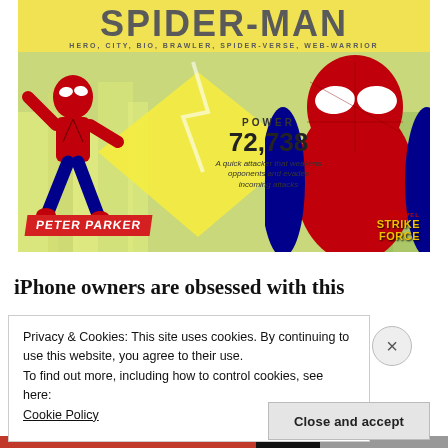[Figure (illustration): Spider-Man character card from Marvel Strike Force. Yellow background with large 'SPIDER-MAN' title text, subtitle 'HERO, CITY, BIO, BRAWLER, SPIDER-VERSE, WEB-WARRIOR'. Animated Spider-Man figure on left, photorealistic Spider-Man head/torso on right. Center shows power stats: POWER 72,738. Description: 'A quick attacker that weakens opponents and evades incoming attacks'. Peter Parker label in red banner bottom left. Marvel Strike Force logo bottom right.]
iPhone owners are obsessed with this
Privacy & Cookies: This site uses cookies. By continuing to use this website, you agree to their use.
To find out more, including how to control cookies, see here:
Cookie Policy
Close and accept